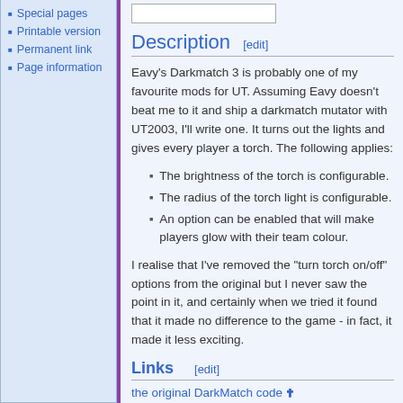Special pages
Printable version
Permanent link
Page information
Description [edit]
Eavy's Darkmatch 3 is probably one of my favourite mods for UT. Assuming Eavy doesn't beat me to it and ship a darkmatch mutator with UT2003, I'll write one. It turns out the lights and gives every player a torch. The following applies:
The brightness of the torch is configurable.
The radius of the torch light is configurable.
An option can be enabled that will make players glow with their team colour.
I realise that I've removed the "turn torch on/off" options from the original but I never saw the point in it, and certainly when we tried it found that it made no difference to the game - in fact, it made it less exciting.
Links [edit]
the original DarkMatch code
Interested Scripters [edit]